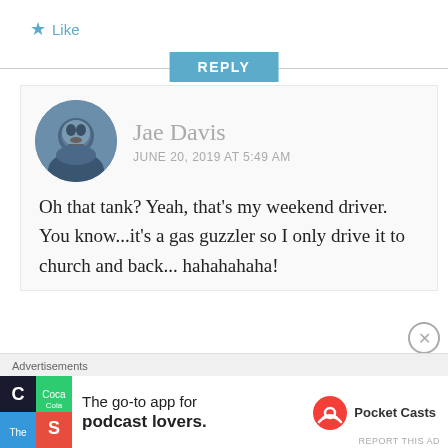★ Like
REPLY
Jae Davis
JUNE 20, 2019 AT 5:49 AM
Oh that tank? Yeah, that's my weekend driver. You know...it's a gas guzzler so I only drive it to church and back... hahahahaha!
[Figure (other): Advertisement banner: Pocket Casts app ad - 'The go-to app for podcast lovers.']